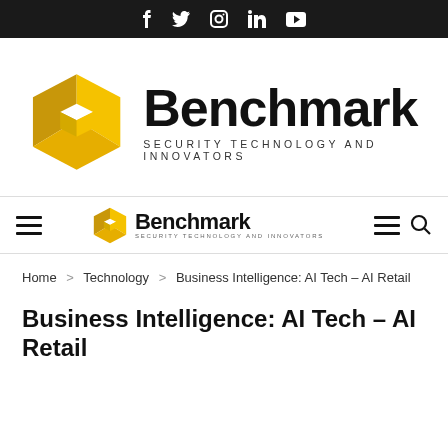Social media icons: Facebook, Twitter, Instagram, LinkedIn, YouTube
[Figure (logo): Benchmark Security Technology and Innovators logo — yellow hexagon with cube cutout and bold 'Benchmark' wordmark with 'SECURITY TECHNOLOGY AND INNOVATORS' subtitle]
Navigation bar with hamburger menu, Benchmark logo, hamburger menu and search icon
Home > Technology > Business Intelligence: AI Tech – AI Retail
Business Intelligence: AI Tech – AI Retail